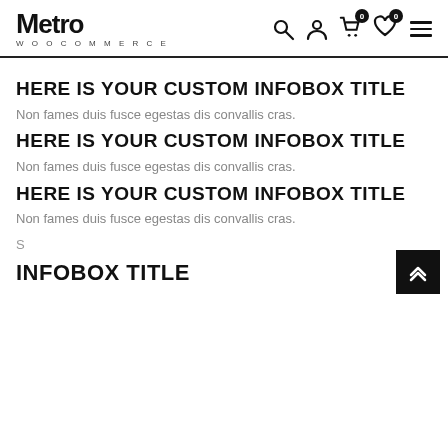Metro WOOCOMMERCE
HERE IS YOUR CUSTOM INFOBOX TITLE
Non fames duis fusce egestas dis convallis cras.
HERE IS YOUR CUSTOM INFOBOX TITLE
Non fames duis fusce egestas dis convallis cras.
HERE IS YOUR CUSTOM INFOBOX TITLE
Non fames duis fusce egestas dis convallis cras.
S
INFOBOX TITLE